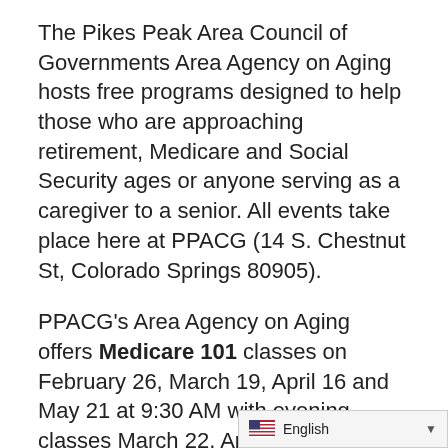The Pikes Peak Area Council of Governments Area Agency on Aging hosts free programs designed to help those who are approaching retirement, Medicare and Social Security ages or anyone serving as a caregiver to a senior. All events take place here at PPACG (14 S. Chestnut St, Colorado Springs 80905).
PPACG's Area Agency on Aging offers Medicare 101 classes on February 26, March 19, April 16 and May 21 at 9:30 AM with evening classes March 22, April 26 and May 24 from 5:30-7:30 PM.
In partnership with the Social Security Administration, PPACG is able to offer Social Security 101 March 1, 2018 from 4:00-5:30 PM and April 19 from 5:30-7:30